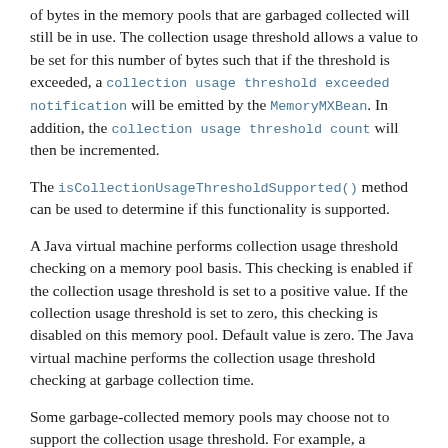of bytes in the memory pools that are garbaged collected will still be in use. The collection usage threshold allows a value to be set for this number of bytes such that if the threshold is exceeded, a collection usage threshold exceeded notification will be emitted by the MemoryMXBean. In addition, the collection usage threshold count will then be incremented.
The isCollectionUsageThresholdSupported() method can be used to determine if this functionality is supported.
A Java virtual machine performs collection usage threshold checking on a memory pool basis. This checking is enabled if the collection usage threshold is set to a positive value. If the collection usage threshold is set to zero, this checking is disabled on this memory pool. Default value is zero. The Java virtual machine performs the collection usage threshold checking at garbage collection time.
Some garbage-collected memory pools may choose not to support the collection usage threshold. For example, a memory pool is only managed by a continuous